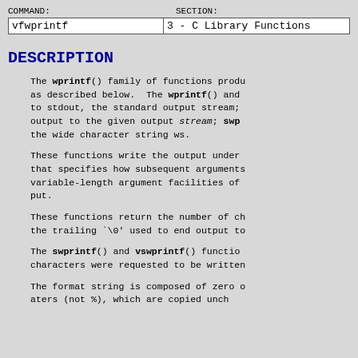COMMAND: vfwprintf | SECTION: 3 - C Library Functions
DESCRIPTION
The wprintf() family of functions produces output as described below. The wprintf() and output to stdout, the standard output stream; output to the given output stream; swp the wide character string ws.
These functions write the output under that specifies how subsequent arguments variable-length argument facilities of put.
These functions return the number of ch the trailing `\0' used to end output to
The swprintf() and vswprintf() functio characters were requested to be written
The format string is composed of zero o aters (not %), which are copied uncho